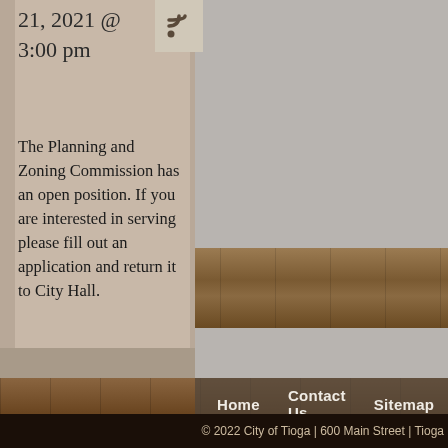21, 2021 @ 3:00 pm
The Planning and Zoning Commission has an open position. If you are interested in serving please fill out an application and return it to City Hall.
Home   Contact Us   Sitemap   Cop
© 2022 City of Tioga | 600 Main Street | Tioga